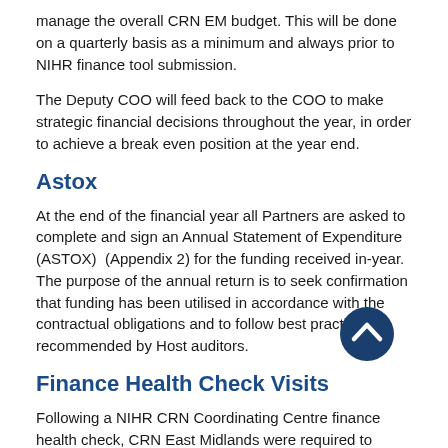manage the overall CRN EM budget. This will be done on a quarterly basis as a minimum and always prior to NIHR finance tool submission.
The Deputy COO will feed back to the COO to make strategic financial decisions throughout the year, in order to achieve a break even position at the year end.
Astox
At the end of the financial year all Partners are asked to complete and sign an Annual Statement of Expenditure (ASTOX)  (Appendix 2) for the funding received in-year. The purpose of the annual return is to seek confirmation that funding has been utilised in accordance with the contractual obligations and to follow best practice recommended by Host auditors.
Finance Health Check Visits
Following a NIHR CRN Coordinating Centre finance health check, CRN East Midlands were required to